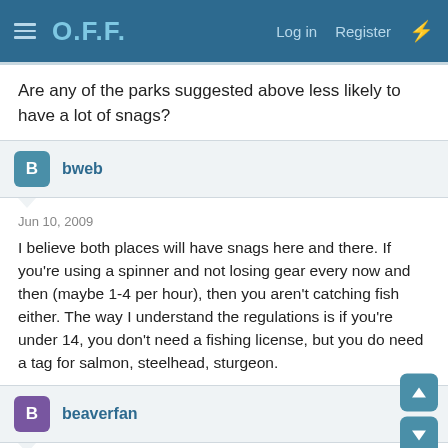O.F.F. Log in Register
Are any of the parks suggested above less likely to have a lot of snags?
bweb
Jun 10, 2009
I believe both places will have snags here and there. If you're using a spinner and not losing gear every now and then (maybe 1-4 per hour), then you aren't catching fish either. The way I understand the regulations is if you're under 14, you don't need a fishing license, but you do need a tag for salmon, steelhead, sturgeon.
beaverfan
Jun 10, 2009